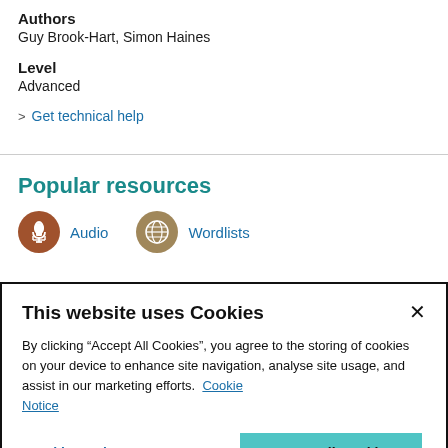Authors
Guy Brook-Hart, Simon Haines
Level
Advanced
Get technical help
Popular resources
Audio
Wordlists
This website uses Cookies
By clicking “Accept All Cookies”, you agree to the storing of cookies on your device to enhance site navigation, analyse site usage, and assist in our marketing efforts.  Cookie Notice
Cookie Settings
Accept All Cookies